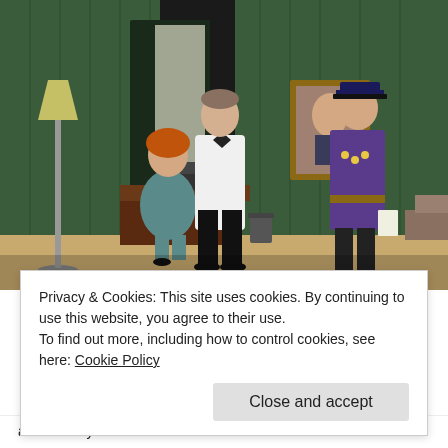[Figure (photo): Theater stage scene with three actors: a woman in a teal dress seated at a desk with a typewriter, a man in a white jacket and bow tie standing center, and a man in a purple military uniform on the right. Green curtained backdrop with a portrait painting. Pink banner visible at top right.]
Privacy & Cookies: This site uses cookies. By continuing to use this website, you agree to their use.
To find out more, including how to control cookies, see here: Cookie Policy
Close and accept
and Chaney is a tribute to the actors' abilities and to their